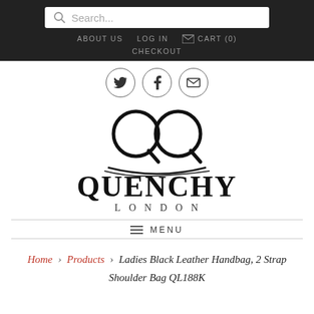Search... | ABOUT US | LOG IN | CART (0) | CHECKOUT
[Figure (logo): Quenchy London logo with stylized QQ monogram, social icons (Twitter, Facebook, Email), and brand name with LONDON subtitle]
MENU
Home › Products › Ladies Black Leather Handbag, 2 Strap Shoulder Bag QL188K